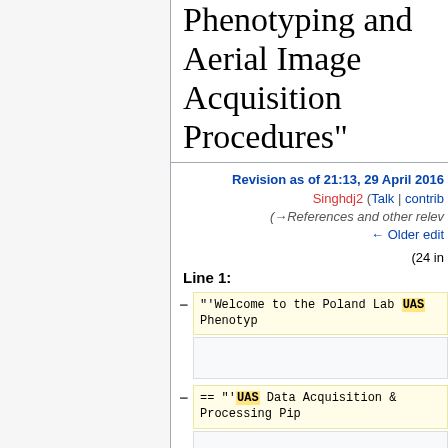Phenotyping and Aerial Image Acquisition Procedures"
Revision as of 21:13, 29 April 2016 Singhdj2 (Talk | contrib (→References and other relev ← Older edit
(24 in
Line 1:
"'Welcome to the Poland Lab UAS Phenotyp
== "'UAS Data Acquisition & Processing Pip
[[File:UAS_Pipeline_overview_Kevin.png|rig UAS